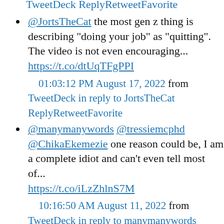TweetDeck ReplyRetweetFavorite
@JortsTheCat the most gen z thing is describing "doing your job" as "quitting". The video is not even encouraging... https://t.co/dtUqTFgPPI 01:03:12 PM August 17, 2022 from TweetDeck in reply to JortsTheCat ReplyRetweetFavorite
@manymanywords @tressiemcphd @ChikaEkemezie one reason could be, I am a complete idiot and can't even tell most of... https://t.co/iLzZhlnS7M 10:16:50 AM August 11, 2022 from TweetDeck in reply to manymanywords ReplyRetweetFavorite